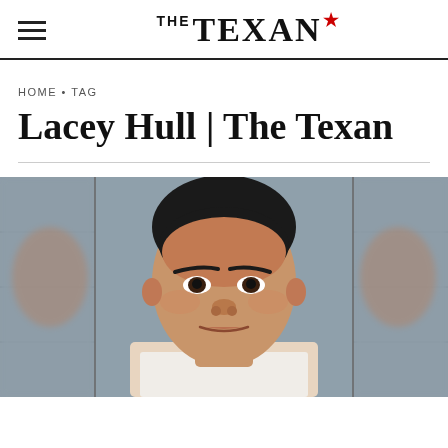THE TEXAN
HOME • TAG
Lacey Hull | The Texan
[Figure (photo): Mugshot photo of a woman with dark hair pulled back, wearing a white top, against a gray cinder block wall background. The image appears to be a triptych with a blurred version on both sides.]